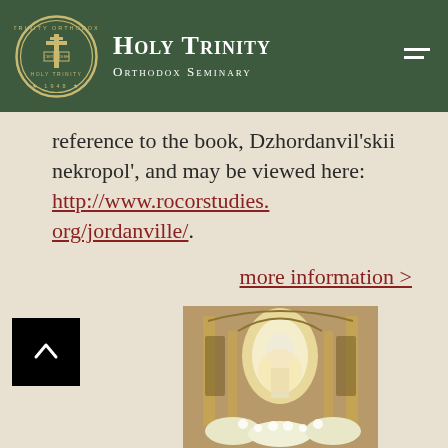Holy Trinity Orthodox Seminary
reference to the book, Dzhordanvil'skii nekropol', and may be viewed here: http://www.rocorstudies.org/jordanville/.
more information >
[Figure (photo): Interior of an Orthodox church with altar, iconostasis, flowers and clergy visible]